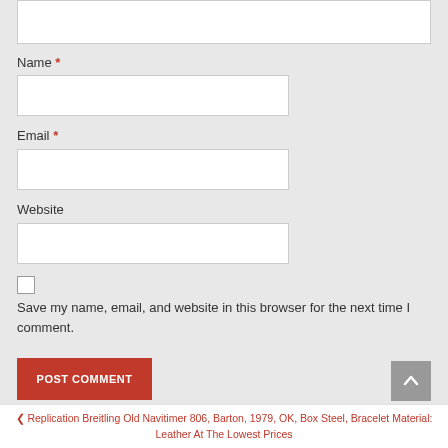Name *
Email *
Website
Save my name, email, and website in this browser for the next time I comment.
POST COMMENT
❮ Replication Breitling Old Navitimer 806, Barton, 1979, OK, Box Steel, Bracelet Material: Leather At The Lowest Prices